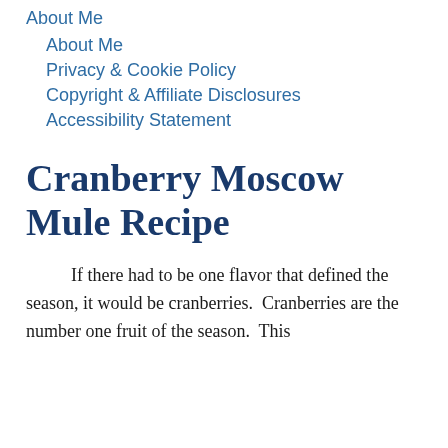About Me
About Me
Privacy & Cookie Policy
Copyright & Affiliate Disclosures
Accessibility Statement
Cranberry Moscow Mule Recipe
If there had to be one flavor that defined the season, it would be cranberries.  Cranberries are the number one fruit of the season.  This